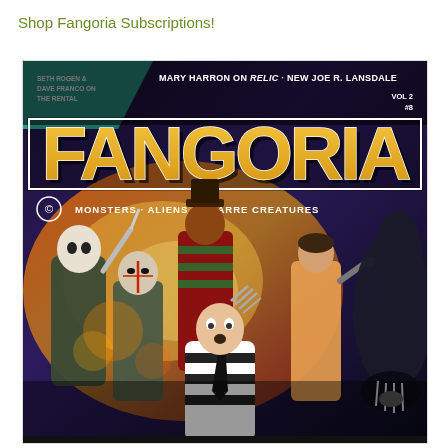Shop Fangoria Subscriptions!
[Figure (illustration): Fangoria magazine cover Vol 2 #8 featuring illustrated horror icons including Michael Myers, Jason Voorhees, Freddy Krueger, Ripley, and the Alien/Xenomorph surrounding a scared referee/man in a striped shirt, with explosion background. Header text reads: MARY HARRON ON RELIC · NEW JOE R. LANSDALE. Teal diagonal banner: SETH ROGEN & DAVE FRANCO ON THE RENTAL. Subtitle: MONSTERS · ALIENS · BIZARRE CREATURES. Large stylized FANGORIA title in orange/gold.]